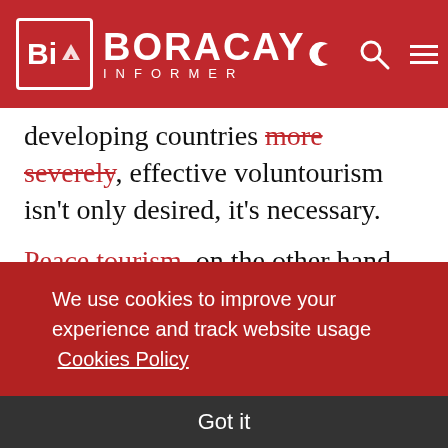BORACAY INFORMER
developing countries more severely, effective voluntourism isn't only desired, it's necessary.
Peace tourism, on the other hand, refers to an interest in visiting specific destinations in order to either examine how peace is developed and celebrated there through research or studies, or contribute to a destination's efforts to establish
We use cookies to improve your experience and track website usage  Cookies Policy
Got it